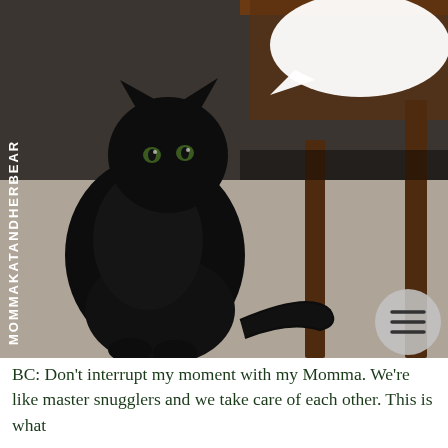[Figure (photo): A black cat sitting on carpet looking at the camera, with a wooden table in the background. A speech bubble appears in the upper right. The text 'MOMMAKATANDHERBEAR' is written vertically on the left side in white. A hamburger menu icon in a gray circle appears in the lower right.]
BC: Don't interrupt my moment with my Momma. We're like master snugglers and we take care of each other. This is what